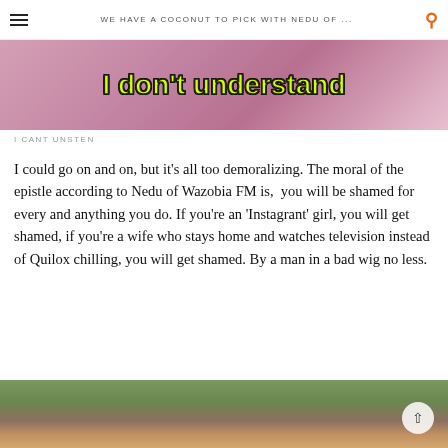WE HAVE A COCONUT TO PICK WITH NEDU OF ...
[Figure (photo): Screenshot of a person with text overlay reading 'I don't understand' in yellow/green Impact font with black outline, on a pink/purple background]
I CANT UNSTEN
I could go on and on, but it's all too demoralizing. The moral of the epistle according to Nedu of Wazobia FM is,  you will be shamed for every and anything you do. If you're an 'Instagrant' girl, you will get shamed, if you're a wife who stays home and watches television instead of Quilox chilling, you will get shamed. By a man in a bad wig no less.
[Figure (photo): Photo of girls with long reddish hair standing outdoors, viewed from behind, with greenery and houses in background]